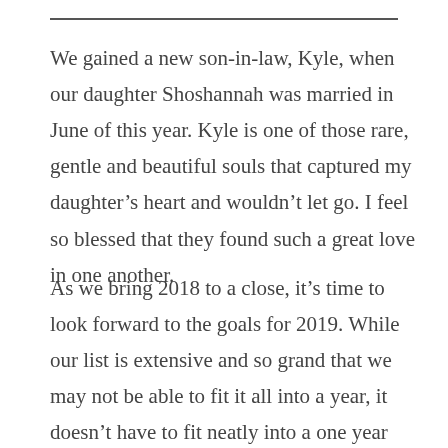We gained a new son-in-law, Kyle, when our daughter Shoshannah was married in June of this year. Kyle is one of those rare, gentle and beautiful souls that captured my daughter’s heart and wouldn’t let go. I feel so blessed that they found such a great love in one another.
As we bring 2018 to a close, it’s time to look forward to the goals for 2019. While our list is extensive and so grand that we may not be able to fit it all into a year, it doesn’t have to fit neatly into a one year span. Let’s look at these